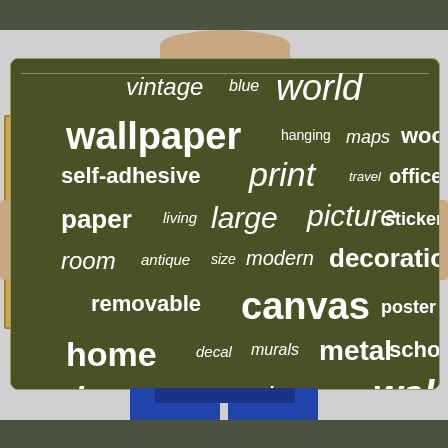[Figure (infographic): Word cloud / tag cloud on dark olive green background with white words of various sizes representing related search terms for world map wall decor products. Words include: vintage, blue, world, wallpaper, hanging, maps, wood, self-adhesive, print, travel, office, paper, living, large, picture, sticker, room, antique, size, modern, decoration, removable, canvas, poster, home, decal, murals, metal, school, decor, wooden, atlas, wall, framed, mural]